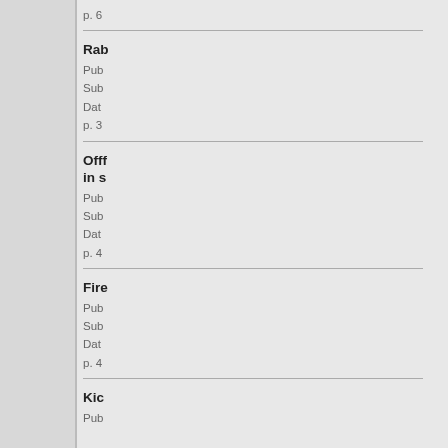p. 6
Rab
Pub
Sub
Dat
p. 3
Offf in s
Pub
Sub
Dat
p. 4
Fire
Pub
Sub
Dat
p. 4
Kic